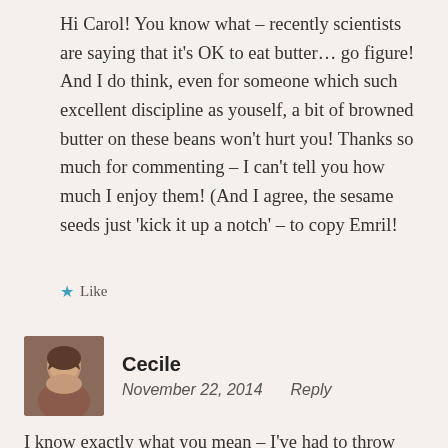Hi Carol! You know what – recently scientists are saying that it's OK to eat butter… go figure! And I do think, even for someone which such excellent discipline as youself, a bit of browned butter on these beans won't hurt you! Thanks so much for commenting – I can't tell you how much I enjoy them! (And I agree, the sesame seeds just 'kick it up a notch' – to copy Emril!
★ Like
[Figure (photo): Profile photo of commenter Cecile, a woman with dark hair]
Cecile
November 22, 2014   Reply
I know exactly what you mean – I've had to throw away my share of green beans as well. When I was